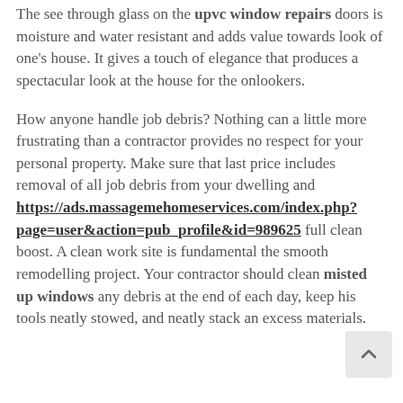The see through glass on the upvc window repairs doors is moisture and water resistant and adds value towards look of one's house. It gives a touch of elegance that produces a spectacular look at the house for the onlookers.

How anyone handle job debris? Nothing can a little more frustrating than a contractor provides no respect for your personal property. Make sure that last price includes removal of all job debris from your dwelling and https://ads.massagemehomeservices.com/index.php?page=user&action=pub_profile&id=989625 full clean boost. A clean work site is fundamental the smooth remodelling project. Your contractor should clean misted up windows any debris at the end of each day, keep his tools neatly stowed, and neatly stack any excess materials.